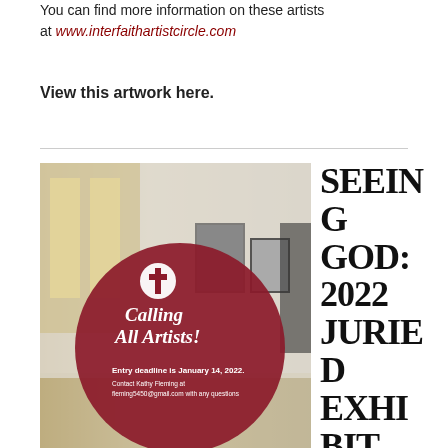You can find more information on these artists at www.interfaithartistcircle.com
View this artwork here.
[Figure (photo): Photo of an art gallery interior with framed artwork on white walls, overlaid with a dark red circular badge reading 'Calling All Artists! Entry deadline is January 14, 2022. Contact Kathy Fleming at fleming5450@gmail.com with any questions']
SEEING GOD: 2022 JURIED EXHIBIT OF SACRED